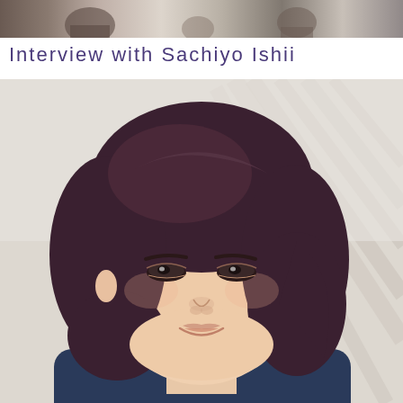[Figure (photo): Top banner strip showing a partial photo of people in the background, appearing as a thin horizontal strip at the very top of the page]
Interview with Sachiyo Ishii
[Figure (photo): Portrait photograph of Sachiyo Ishii, a woman with short dark brown bob-style hair, smiling gently, wearing a dark navy blue top. The background is light/white with diagonal lines suggesting blinds or slats. The photo is close-cropped showing her face and upper torso.]